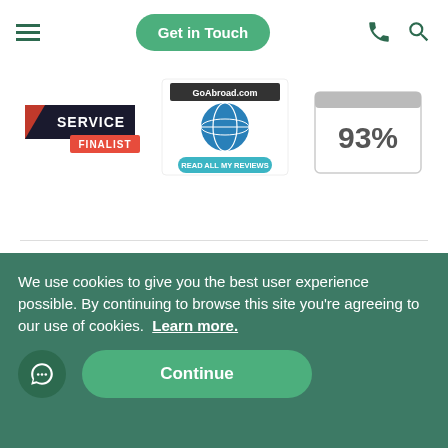Navigation bar with hamburger menu, Get in Touch button, phone and search icons
[Figure (logo): Service Finalist badge with red and dark banner]
[Figure (logo): GoAbroad.com globe logo with Read All My Reviews button]
[Figure (logo): 93% rating badge with gray header bar]
[Figure (logo): Best Volunteer Abroad Program 2020 - Volunteer Forever circular badge]
[Figure (logo): EPA - Expedition Providers Association globe logo]
[Figure (logo): Quality Badge awarded by Council for Learning Outside the Classroom - Q badge with icons]
We use cookies to give you the best user experience possible. By continuing to browse this site you’re agreeing to our use of cookies. Learn more.
Continue